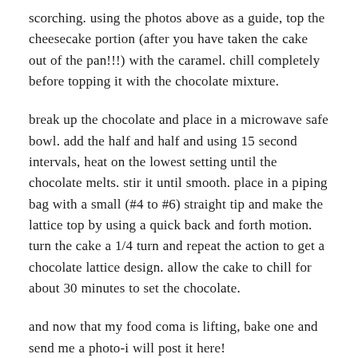scorching.  using the photos above as a guide, top the cheesecake portion (after you have taken the cake out of the pan!!!) with the caramel.  chill completely before topping it with the chocolate mixture.
break up the chocolate and place in a microwave safe bowl.  add the half and half and using 15 second intervals, heat on the lowest setting until the chocolate melts.  stir it until smooth.  place in a piping bag with a small (#4 to #6) straight tip and make the lattice top by using a quick back and forth motion.  turn the cake a 1/4 turn and repeat the action to get a chocolate lattice design.  allow the cake to chill for about 30 minutes to set the chocolate.
and now that my food coma is lifting, bake one and send me a photo-i will post it here!  bakinbabe116@aol.com
SHARE THIS: